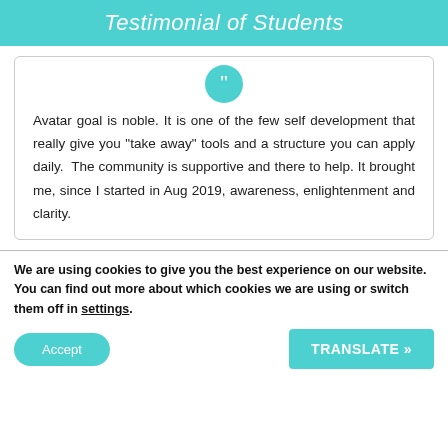Testimonial of Students
[Figure (illustration): Teal circle with white quotation mark icon]
Avatar goal is noble. It is one of the few self development that really give you "take away" tools and a structure you can apply daily.  The community is supportive and there to help. It brought me, since I started in Aug 2019, awareness, enlightenment and clarity.
We are using cookies to give you the best experience on our website.
You can find out more about which cookies we are using or switch them off in settings.
Accept
TRANSLATE »